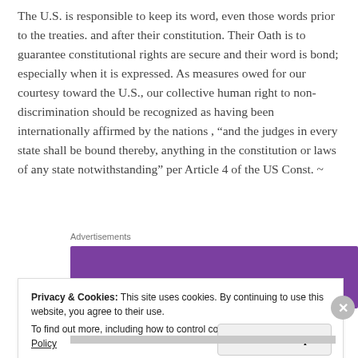The U.S. is responsible to keep its word, even those words prior to the treaties. and after their constitution. Their Oath is to guarantee constitutional rights are secure and their word is bond; especially when it is expressed. As measures owed for our courtesy toward the U.S., our collective human right to non-discrimination should be recognized as having been internationally affirmed by the nations , “and the judges in every state shall be bound thereby, anything in the constitution or laws of any state notwithstanding” per Article 4 of the US Const. ~
[Figure (other): WooCommerce advertisement banner with purple background and white logo text]
Privacy & Cookies: This site uses cookies. By continuing to use this website, you agree to their use.
To find out more, including how to control cookies, see here: Cookie Policy
Close and accept